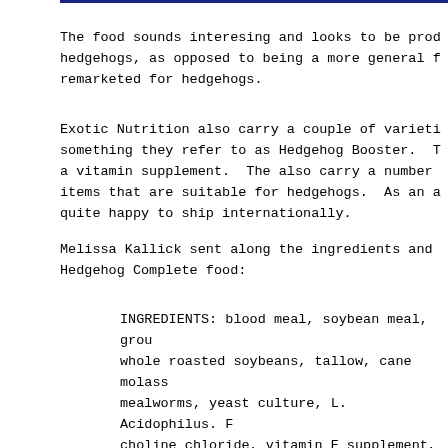The food sounds interesing and looks to be prod hedgehogs, as opposed to being a more general f remarketed for hedgehogs.
Exotic Nutrition also carry a couple of varieti something they refer to as Hedgehog Booster. T a vitamin supplement. The also carry a number items that are suitable for hedgehogs. As an a quite happy to ship internationally.
Melissa Kallick sent along the ingredients and Hedgehog Complete food:
INGREDIENTS: blood meal, soybean meal, grou whole roasted soybeans, tallow, cane molass mealworms, yeast culture, L. Acidophilus. F choline chloride, vitamin E supplement, cop proteinate, manganese proteinate, copper pr proteinate, thiamine monoitrate, vitamin A